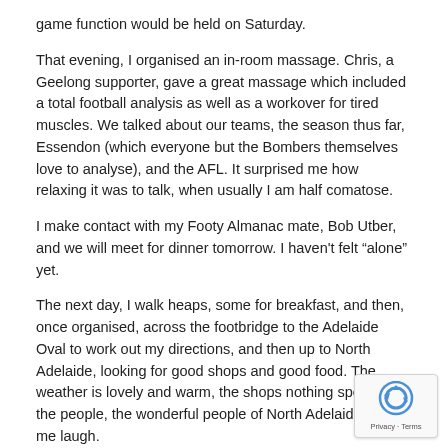game function would be held on Saturday.
That evening, I organised an in-room massage. Chris, a Geelong supporter, gave a great massage which included a total football analysis as well as a workover for tired muscles. We talked about our teams, the season thus far, Essendon (which everyone but the Bombers themselves love to analyse), and the AFL. It surprised me how relaxing it was to talk, when usually I am half comatose.
I make contact with my Footy Almanac mate, Bob Utber, and we will meet for dinner tomorrow. I haven't felt “alone” yet.
The next day, I walk heaps, some for breakfast, and then, once organised, across the footbridge to the Adelaide Oval to work out my directions, and then up to North Adelaide, looking for good shops and good food. The weather is lovely and warm, the shops nothing special, but the people, the wonderful people of North Adelaide, made me laugh.
First I meet Mick, a “kind of Crow”, who wants to be remembered as “the best Australian Post courier in the country”. He is sweet and wishes the Saints the best. He tells me this town is divided, footy wise.
Mick’s words are confirmed when I walk past Sam’s Shoe Repairs more later. Sam is in the doorway, enjoying the afternoon sun, and cheers Saints on to beat the Crows. Sam invites me into the shop and tells some history of the state’s two AFL teams. A mad Port Adelaide man, he add Port Adelaide to the AFL because Adelaide that had